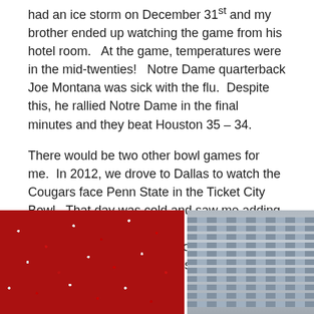had an ice storm on December 31st and my brother ended up watching the game from his hotel room.   At the game, temperatures were in the mid-twenties!   Notre Dame quarterback Joe Montana was sick with the flu.  Despite this, he rallied Notre Dame in the final minutes and they beat Houston 35 – 34.
There would be two other bowl games for me.  In 2012, we drove to Dallas to watch the Cougars face Penn State in the Ticket City Bowl.  That day was cold and saw me adding my long underwear after we parked the car.   We saw Case Keenam explode with 532 passing yards and lead Houston to a 30 – 14 win.
[Figure (photo): A large crowd of fans in red and white colors filling stadium stands]
[Figure (photo): A person standing in stadium bleacher seats at a bowl game]